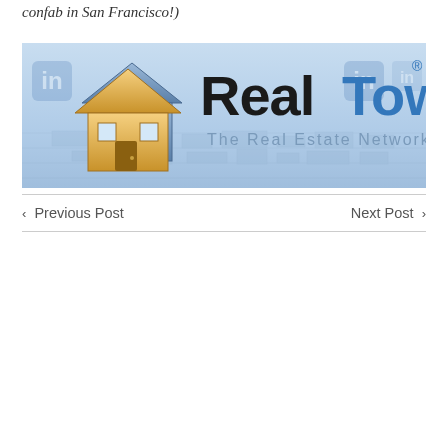confab in San Francisco!)
[Figure (logo): RealTown logo banner — house icon with gold/blue coloring, text 'Real Town' with 'Real' in black and 'Town' in blue, subtitle 'The Real Estate Network', background is a light blue aerial map view with LinkedIn-style icons faintly visible]
< Previous Post   Next Post >